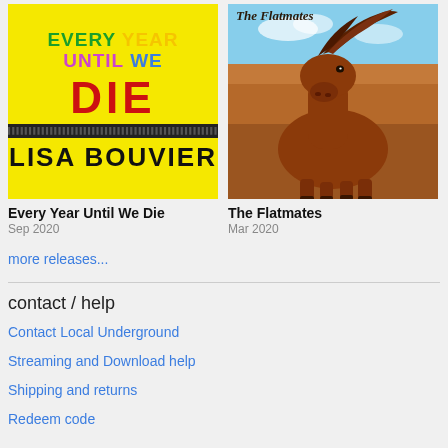[Figure (photo): Album cover for 'Every Year Until We Die' by Lisa Bouvier — yellow background with colorful pixel/block text]
[Figure (photo): Album cover for 'The Flatmates' — close-up photo of a brown horse in a field under a blue sky, with 'The Flatmates' text overlay]
Every Year Until We Die
Sep 2020
The Flatmates
Mar 2020
more releases...
contact / help
Contact Local Underground
Streaming and Download help
Shipping and returns
Redeem code